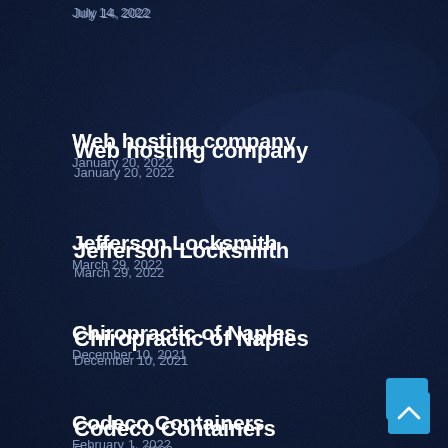July 14, 2022
Web hosting company
January 20, 2022
Jefferson Locksmith
March 29, 2022
Chiropractic of Naples
December 10, 2021
Codeco Containers
February 1, 2022
Restoration Roofing TX
August 17, 2022